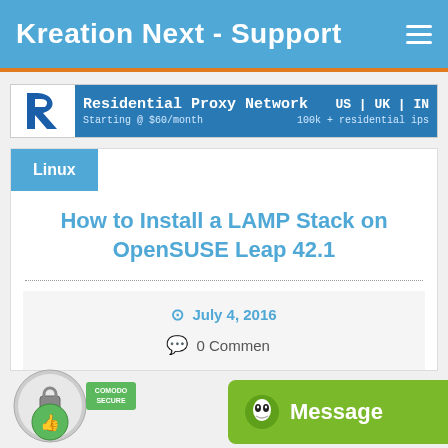Kreation Next - Support
[Figure (illustration): Advertisement banner for Residential Proxy Network showing logo, name, US | UK | IN geo options, Starting @ $60/month, 100k+ residential ips]
Linux
How to Install a LAMP Stack on OpenSUSE Leap 42.1
July 4, 2016
0 Comments
[Figure (logo): Comodo Secure badge with thumbs up icon]
Message